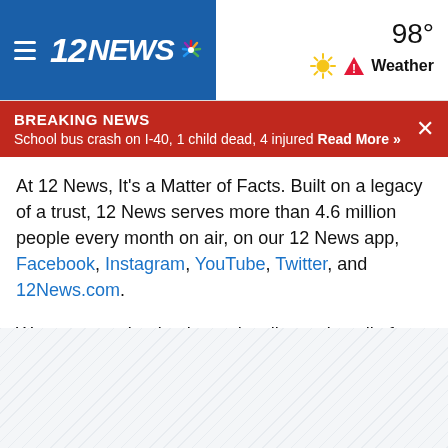12NEWS — 98° Weather
BREAKING NEWS
School bus crash on I-40, 1 child dead, 4 injured Read More »
At 12 News, It's a Matter of Facts. Built on a legacy of a trust, 12 News serves more than 4.6 million people every month on air, on our 12 News app, Facebook, Instagram, YouTube, Twitter, and 12News.com.
We are committed to hyper-locally serving all of our communities. We advocate for our neighbors, affect positive change, and connect our broader community to solutions.